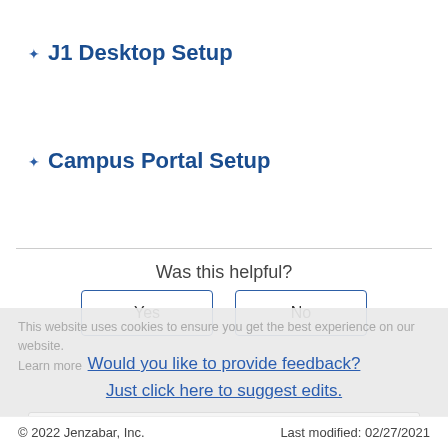J1 Desktop Setup
Campus Portal Setup
Was this helpful?
Yes
No
Would you like to provide feedback?
Just click here to suggest edits.
This website uses cookies to ensure you get the best experience on our website. Learn more
Got it!
© 2022 Jenzabar, Inc.    Last modified: 02/27/2021